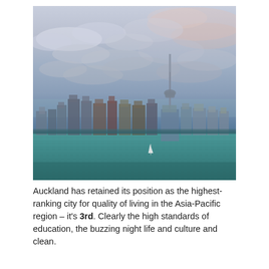[Figure (photo): Aerial/waterfront view of Auckland city skyline at dusk/twilight, featuring the Sky Tower and downtown skyscrapers reflected over the harbour, with a small sailing boat on the water and dramatic cloudy sky above.]
Auckland has retained its position as the highest-ranking city for quality of living in the Asia-Pacific region – it's 3rd. Clearly the high standards of education, the buzzing night life and culture and clean.